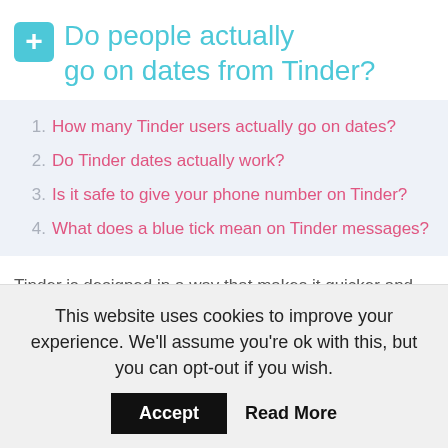Do people actually go on dates from Tinder?
1. How many Tinder users actually go on dates?
2. Do Tinder dates actually work?
3. Is it safe to give your phone number on Tinder?
4. What does a blue tick mean on Tinder messages?
Tinder is designed in a way that makes it quicker and easier to meet more people through the app. But when it comes to actually getting off the app and to that first in-person date, its still pretty hard. But it can certainly be done. In fact, tons of people go on Tinder dates every day.
This website uses cookies to improve your experience. We'll assume you're ok with this, but you can opt-out if you wish.
Accept  Read More